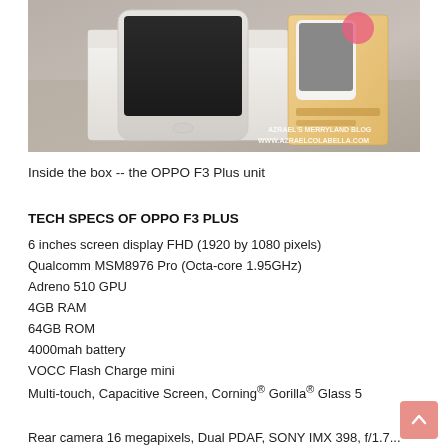[Figure (photo): Unboxing photo showing an OPPO F3 Plus smartphone unit next to its white retail box, with a product card/booklet visible in the background. Watermark text reads: AZRAEL'S MERRYLAND BLOG / WWW.AZRAELCOLABELLA.COM]
Inside the box -- the OPPO F3 Plus unit
TECH SPECS OF OPPO F3 PLUS
6 inches screen display FHD (1920 by 1080 pixels)
Qualcomm MSM8976 Pro (Octa-core 1.95GHz)
Adreno 510 GPU
4GB RAM
64GB ROM
4000mah battery
VOCC Flash Charge mini
Multi-touch, Capacitive Screen, Corning® Gorilla® Glass 5
Rear camera 16 megapixels, Dual PDAF, SONY IMX 398, f/1.7...